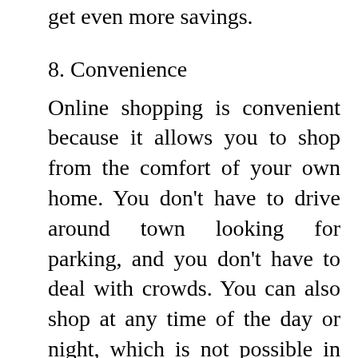get even more savings.
8. Convenience
Online shopping is convenient because it allows you to shop from the comfort of your own home. You don't have to drive around town looking for parking, and you don't have to deal with crowds. You can also shop at any time of the day or night, which is not possible in physical stores.
9. No Sales Tax
Online shopping also gives you the advantage of not having to pay sales tax. This is a big deal because it can